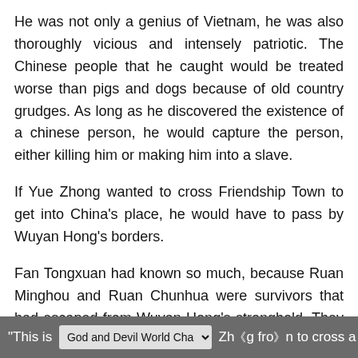He was not only a genius of Vietnam, he was also thoroughly vicious and intensely patriotic. The Chinese people that he caught would be treated worse than pigs and dogs because of old country grudges. As long as he discovered the existence of a chinese person, he would capture the person, either killing him or making him into a slave.
If Yue Zhong wanted to cross Friendship Town to get into China's place, he would have to pass by Wuyan Hong's borders.
Fan Tongxuan had known so much, because Ruan Minghou and Ruan Chunhua were survivors that had escaped from Wuyan Hong's stronghold. They had escaped because Ruan Minghou had offended one of the small powers within Wuyan Hong's stronghold, and he was afraid that he would not live to see another day, therefore they ran.
"This is  [God and Devil World Cha▼]  Zhong from  [gear icons]  to cross a